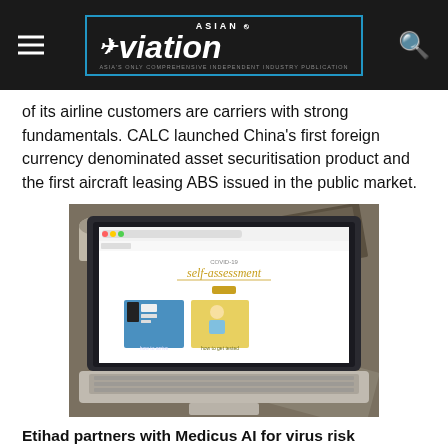Asian Aviation
of its airline customers are carriers with strong fundamentals. CALC launched China's first foreign currency denominated asset securitisation product and the first aircraft leasing ABS issued in the public market.
[Figure (photo): A MacBook laptop on a wooden desk displaying a COVID-19 self-assessment webpage, surrounded by books and a coffee mug.]
Etihad partners with Medicus AI for virus risk assessment: Etihad Airways, the national airline of the United Arab Emirates, is partnering with Austrian-based healthcare technology company Medicus AI to launch a